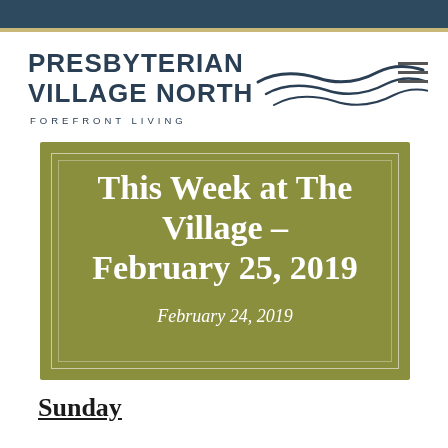[Figure (logo): Presbyterian Village North – Forefront Living logo with wave graphic]
This Week at The Village – February 25, 2019
February 24, 2019
Sunday